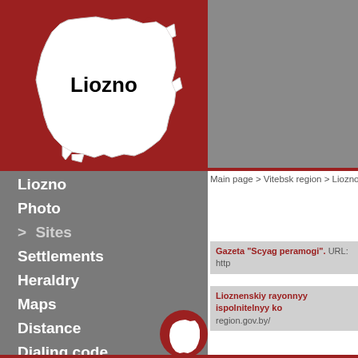[Figure (map): Map of Belarus/Liozno district shown as white silhouette on dark red background, labeled 'Liozno']
[Figure (other): Gray rectangle top right]
Liozno
Photo
> Sites
Settlements
Heraldry
Maps
Distance
Dialing code
Weather
Main page > Vitebsk region > Liozno > Sit
Gazeta "Scyag peramogi". URL: http
Lioznenskiy rayonnyy ispolnitelnyy ko region.gov.by/